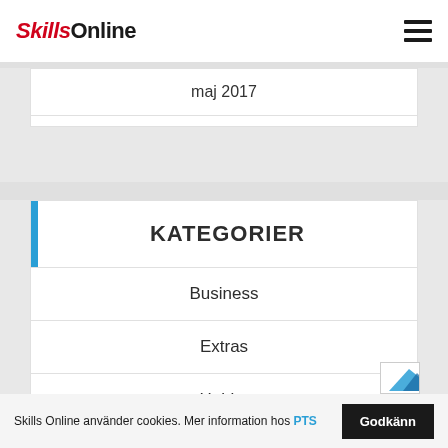Skills Online
maj 2017
KATEGORIER
Business
Extras
Hobby
Knowledge
Skills Online använder cookies. Mer information hos PTS  Godkänn